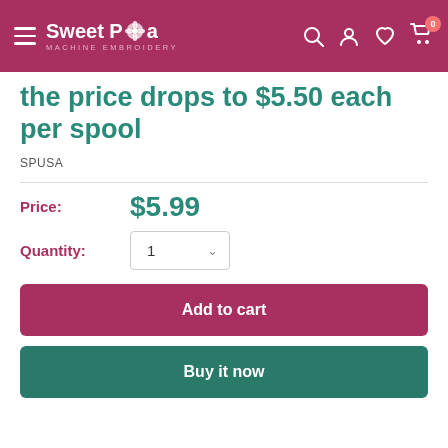Sweet Pea Machine Embroidery
the price drops to $5.50 each per spool
SPUSA
Price: $5.99
Quantity: 1
Add to cart
Buy it now